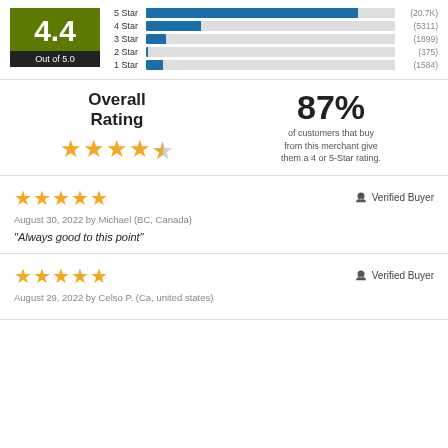[Figure (bar-chart): Star Rating Distribution]
4.4
Out of 5.0
Overall Rating
87%
of customers that buy from this merchant give them a 4 or 5-Star rating.
August 30, 2022 by Michael (BC, Canada)
“Always good to this point”
Verified Buyer
August 29, 2022 by Celso P. (Ca, united states)
Verified Buyer